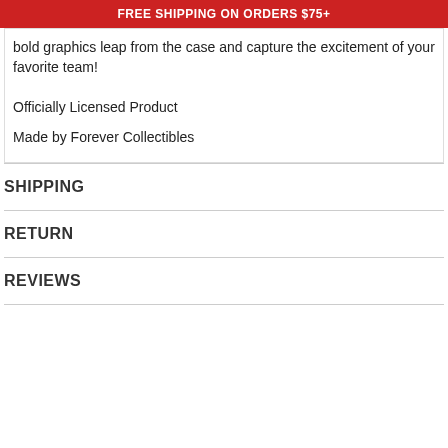FREE SHIPPING ON ORDERS $75+
bold graphics leap from the case and capture the excitement of your favorite team!
Officially Licensed Product
Made by Forever Collectibles
SHIPPING
RETURN
REVIEWS